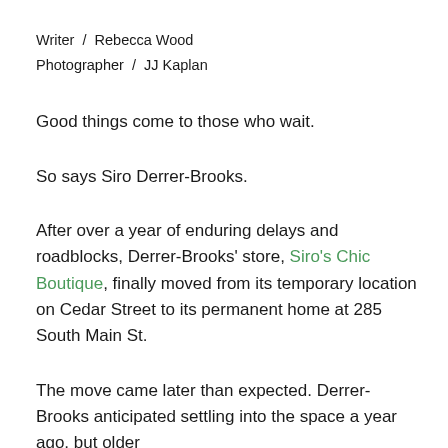Writer / Rebecca Wood
Photographer / JJ Kaplan
Good things come to those who wait.
So says Siro Derrer-Brooks.
After over a year of enduring delays and roadblocks, Derrer-Brooks' store, Siro's Chic Boutique, finally moved from its temporary location on Cedar Street to its permanent home at 285 South Main St.
The move came later than expected. Derrer-Brooks anticipated settling into the space a year ago, but older